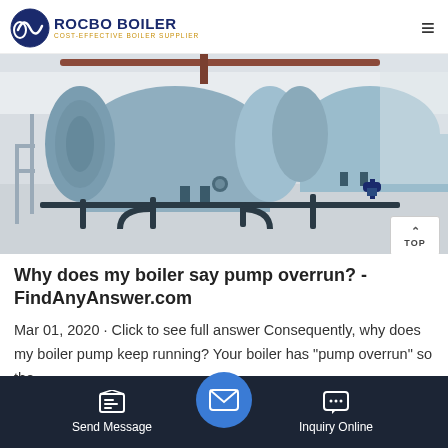ROCBO BOILER - COST-EFFECTIVE BOILER SUPPLIER
[Figure (photo): Industrial boiler room with large cylindrical blue-gray horizontal boilers and piping on a light-colored floor]
Why does my boiler say pump overrun? - FindAnyAnswer.com
Mar 01, 2020 · Click to see full answer Consequently, why does my boiler pump keep running? Your boiler has "pump overrun" so the ... to ... er.Th... eat has
Send Message  |  Inquiry Online